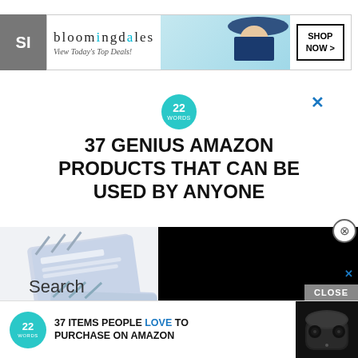[Figure (screenshot): Bloomingdale's banner advertisement: logo with teal text, 'View Today's Top Deals!' tagline, woman with hat, 'SHOP NOW >' button. Gray bar on left side reading 'SI'.]
[Figure (logo): 22 Words circular teal logo badge with '22 WORDS' text]
37 GENIUS AMAZON PRODUCTS THAT CAN BE USED BY ANYONE
[Figure (photo): Product image of makeup remover cleansing towelettes packages with blue/white geometric pattern, partially overlaid by a black video player overlay]
Search
[Figure (screenshot): Bottom advertisement bar: 22 Words badge, '37 ITEMS PEOPLE LOVE TO PURCHASE ON AMAZON' text, image of wireless earbuds in case. CLOSE button at top right.]